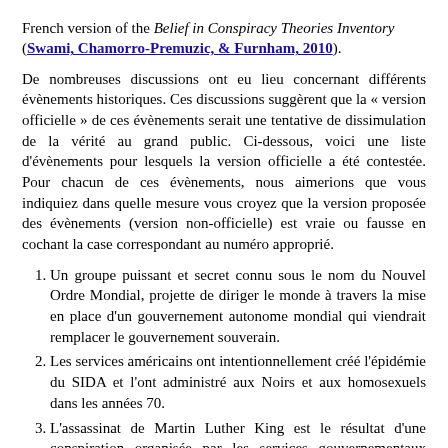French version of the Belief in Conspiracy Theories Inventory (Swami, Chamorro-Premuzic, & Furnham, 2010).
De nombreuses discussions ont eu lieu concernant différents évènements historiques. Ces discussions suggèrent que la « version officielle » de ces évènements serait une tentative de dissimulation de la vérité au grand public. Ci-dessous, voici une liste d'évènements pour lesquels la version officielle a été contestée. Pour chacun de ces évènements, nous aimerions que vous indiquiez dans quelle mesure vous croyez que la version proposée des évènements (version non-officielle) est vraie ou fausse en cochant la case correspondant au numéro approprié.
Un groupe puissant et secret connu sous le nom du Nouvel Ordre Mondial, projette de diriger le monde à travers la mise en place d'un gouvernement autonome mondial qui viendrait remplacer le gouvernement souverain.
Les services américains ont intentionnellement créé l'épidémie du SIDA et l'ont administré aux Noirs et aux homosexuels dans les années 70.
L'assassinat de Martin Luther King est le résultat d'une conspiration organisée par les services gouvernementaux américains comme la CIA et le FBI.
L'atterrissage d'Apollo sur la lune ne s'est jamais passé et a